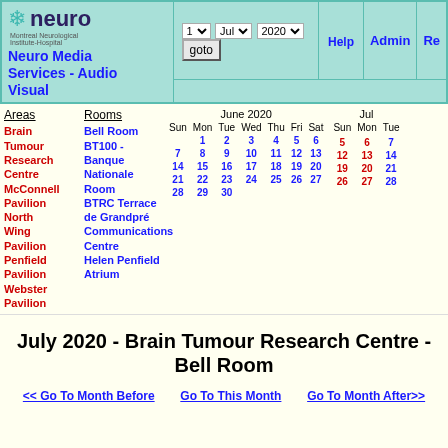Neuro Media Services - Audio Visual — Navigation header with logo, date selectors (1, Jul, 2020), goto button, Help, Admin, Re...
Areas: Brain Tumour Research Centre, McConnell Pavilion, North Wing Pavilion, Penfield Pavilion, Webster Pavilion
Rooms: Bell Room, BT100 - Banque Nationale Room, BTRC Terrace, de Grandpré Communications Centre, Helen Penfield Atrium
[Figure (other): Mini calendar for June 2020 showing dates 1-30 with Sun-Sat columns]
[Figure (other): Partial mini calendar for July 2020 showing dates starting from 5]
July 2020 - Brain Tumour Research Centre - Bell Room
<< Go To Month Before   Go To This Month   Go To Month After>>